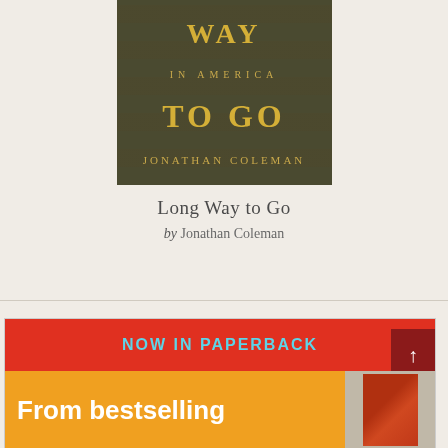[Figure (illustration): Book cover for 'Long Way to Go in America' by Jonathan Coleman. Dark olive/brown background with circular shadow patterns. Title text in gold serif font: 'WAY' at top, 'IN AMERICA' below, 'TO GO' large in center, 'JONATHAN COLEMAN' at bottom.]
Long Way to Go
by Jonathan Coleman
[Figure (screenshot): Promotional banner with red top section reading 'NOW IN PAPERBACK' in cyan bold text, orange bottom section reading 'From bestselling' in white bold text, with a small book cover thumbnail on the right side. A dark red scroll-up button with an upward arrow is visible on the right.]